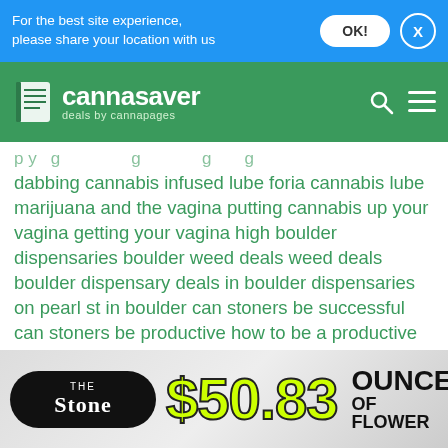For the best site experience, please share your location with us
[Figure (logo): Cannasaver - deals by cannapages logo on green background with search and menu icons]
dabbing cannabis infused lube foria cannabis lube marijuana and the vagina putting cannabis up your vagina getting your vagina high boulder dispensaries boulder weed deals weed deals boulder dispensary deals in boulder dispensaries on pearl st in boulder can stoners be successful can stoners be productive how to be a productive stoner weed and motivation sativa weed strains popular strains of marijuana blue dream strongest weed strains leafly strain reviews legal states for weed recreational pot legal marijuana states legal cannabis marijuana laws election results for marijuana legal marijuana industry marijuana wins big donld trump and marijuana florida medical marijuana florida dispensaries
[Figure (advertisement): The Stone dispensary advertisement showing $50.83 ounce of flower deal with yellow-green price text on gray background]